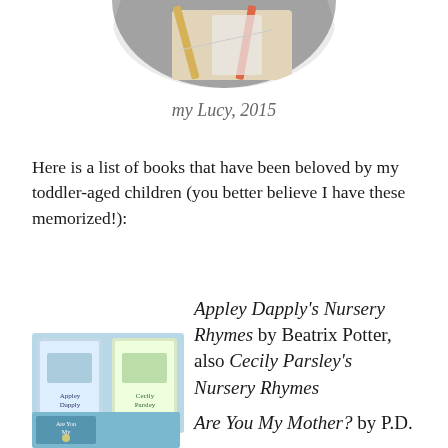[Figure (photo): Cropped circular photo of books/reading materials, partially visible at top of page]
my Lucy, 2015
Here is a list of books that have been beloved by my toddler-aged children (you better believe I have these memorized!):
Appley Dapply's Nursery Rhymes by Beatrix Potter, also Cecily Parsley's Nursery Rhymes
[Figure (photo): Small thumbnail image of book covers for Appley Dapply's Nursery Rhymes]
Are You My Mother? by P.D.
[Figure (photo): Small thumbnail image of Are You My Mother book cover]